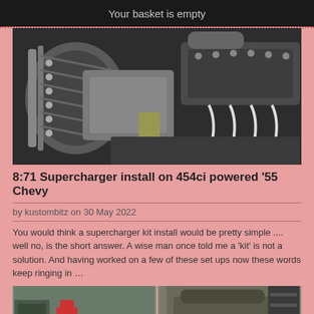Your basket is empty
[Figure (photo): Close-up photo of a supercharger installation on a V8 engine showing belts, pulleys, and engine components]
8:71 Supercharger install on 454ci powered '55 Chevy
by kustombitz on 30 May 2022
You would think a supercharger kit install would be pretty simple .... well no, is the short answer. A wise man once told me a 'kit' is not a solution.  And having worked on a few of these set ups now these words keep ringing in …
[Figure (photo): Two side-by-side workshop photos showing a garage/workshop scene and a vehicle in a shop]